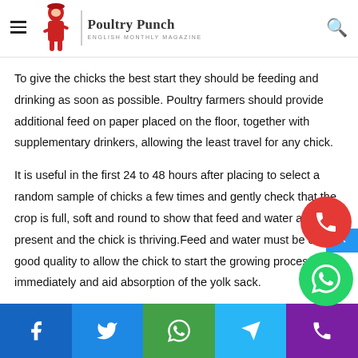Poultry Punch - English Monthly Magazine
be adding to the eating; regimen or level of different supplements may increase or decrease productivity at same level.
To give the chicks the best start they should be feeding and drinking as soon as possible. Poultry farmers should provide additional feed on paper placed on the floor, together with supplementary drinkers, allowing the least travel for any chick.
It is useful in the first 24 to 48 hours after placing to select a random sample of chicks a few times and gently check that the crop is full, soft and round to show that feed and water are present and the chick is thriving.Feed and water must be of good quality to allow the chick to start the growing process immediately and aid absorption of the yolk sack.
Facebook | Twitter | WhatsApp | Telegram | Phone